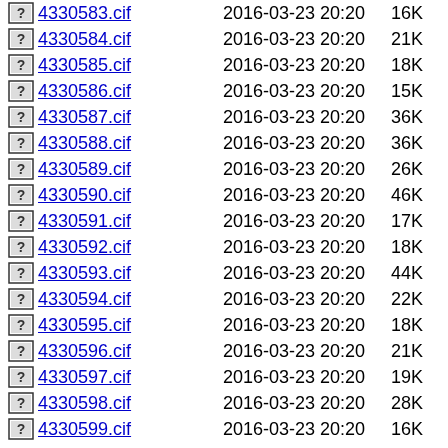4330583.cif  2016-03-23 20:20  16K
4330584.cif  2016-03-23 20:20  21K
4330585.cif  2016-03-23 20:20  18K
4330586.cif  2016-03-23 20:20  15K
4330587.cif  2016-03-23 20:20  36K
4330588.cif  2016-03-23 20:20  36K
4330589.cif  2016-03-23 20:20  26K
4330590.cif  2016-03-23 20:20  46K
4330591.cif  2016-03-23 20:20  17K
4330592.cif  2016-03-23 20:20  18K
4330593.cif  2016-03-23 20:20  44K
4330594.cif  2016-03-23 20:20  22K
4330595.cif  2016-03-23 20:20  18K
4330596.cif  2016-03-23 20:20  21K
4330597.cif  2016-03-23 20:20  19K
4330598.cif  2016-03-23 20:20  28K
4330599.cif  2016-03-23 20:20  16K